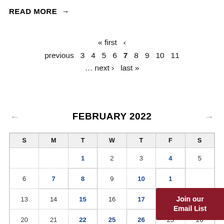READ MORE →
« first ‹ previous 3 4 5 6 7 8 9 10 11 … next › last »
FEBRUARY 2022
| S | M | T | W | T | F | S |
| --- | --- | --- | --- | --- | --- | --- |
|  |  | 1 | 2 | 3 | 4 | 5 |
| 6 | 7 | 8 | 9 | 10 | 11 |  |
| 13 | 14 | 15 | 16 | 17 | 18 | 19 |
| 20 | 21 | 22 | 25 | 26 | 25 | 26 |
Join our Email List